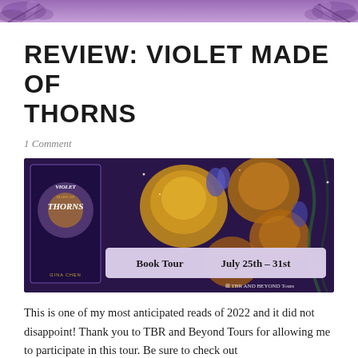[Figure (illustration): Purple floral decorative header banner with flowers on left and right sides against a purple gradient background]
REVIEW: VIOLET MADE OF THORNS
1 Comment
[Figure (photo): Book tour banner for 'Violet Made of Thorns' by Gina Chen. Shows the book cover on the left against a dark purple background with golden roses. A lighter purple box reads 'Book Tour   July 25th – 31st'. TBR and Beyond Tours logo at bottom right.]
This is one of my most anticipated reads of 2022 and it did not disappoint! Thank you to TBR and Beyond Tours for allowing me to participate in this tour. Be sure to check out